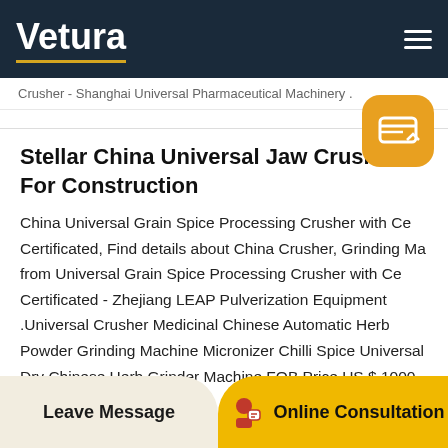Vetura
Crusher - Shanghai Universal Pharmaceutical Machinery .
Stellar China Universal Jaw Crusher For Construction
China Universal Grain Spice Processing Crusher with Ce Certificated, Find details about China Crusher, Grinding Ma from Universal Grain Spice Processing Crusher with Ce Certificated - Zhejiang LEAP Pulverization Equipment .Universal Crusher Medicinal Chinese Automatic Herb Powder Grinding Machine Micronizer Chilli Spice Universal Dry Chinese Herb Grinder Machine FOB Price US $ 1000-3000.
Leave Message
Online Consultation